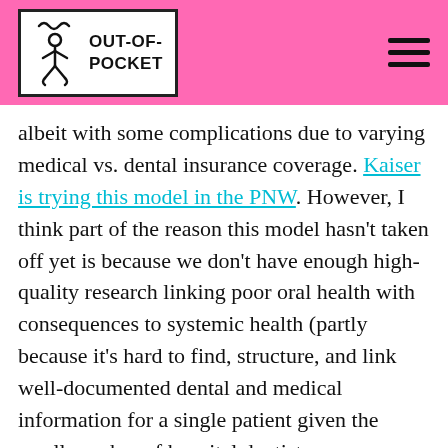OUT-OF-POCKET
albeit with some complications due to varying medical vs. dental insurance coverage. Kaiser is trying this model in the PNW. However, I think part of the reason this model hasn't taken off yet is because we don't have enough high-quality research linking poor oral health with consequences to systemic health (partly because it's hard to find, structure, and link well-documented dental and medical information for a single patient given the small number of hospital dentistry departments). That being said, because we can intuit a relationship between poor oral health (e.g. periodontal infection) and